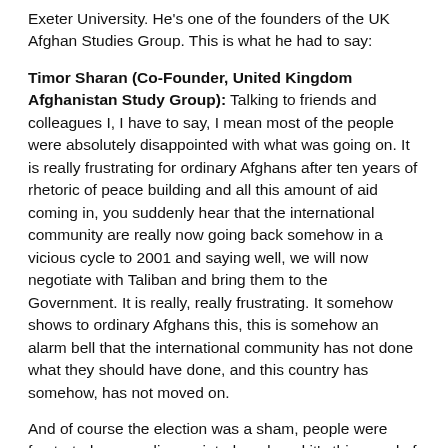Exeter University. He's one of the founders of the UK Afghan Studies Group. This is what he had to say:
Timor Sharan (Co-Founder, United Kingdom Afghanistan Study Group): Talking to friends and colleagues I, I have to say, I mean most of the people were absolutely disappointed with what was going on. It is really frustrating for ordinary Afghans after ten years of rhetoric of peace building and all this amount of aid coming in, you suddenly hear that the international community are really now going back somehow in a vicious cycle to 2001 and saying well, we will now negotiate with Taliban and bring them to the Government. It is really, really frustrating. It somehow shows to ordinary Afghans this, this is somehow an alarm bell that the international community has not done what they should have done, and this country has somehow, has not moved on.
And of course the election was a sham, people were frustrated, angry, disappointed, and, and it's this mood of uncertainty where the country is going, is really I, I think an enormous factor that bothers most of the Afghans.
MF: Was the election a sham, Alistair?